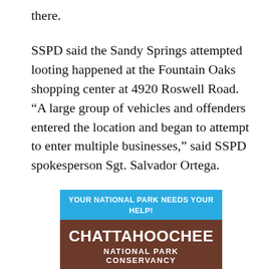there.
SSPD said the Sandy Springs attempted looting happened at the Fountain Oaks shopping center at 4920 Roswell Road. “A large group of vehicles and offenders entered the location and began to attempt to enter multiple businesses,” said SSPD spokesperson Sgt. Salvador Ortega.
[Figure (logo): Chattahoochee National Park Conservancy advertisement. Blue banner at top reads 'YOUR NATIONAL PARK NEEDS YOUR HELP!' in white bold uppercase text. Below is a brown/dark red square with 'CHATTAHOOCHEE' in large white bold uppercase text and 'NATIONAL PARK CONSERVANCY' in smaller white bold uppercase text. At the bottom of the brown box are blue wavy lines representing water.]